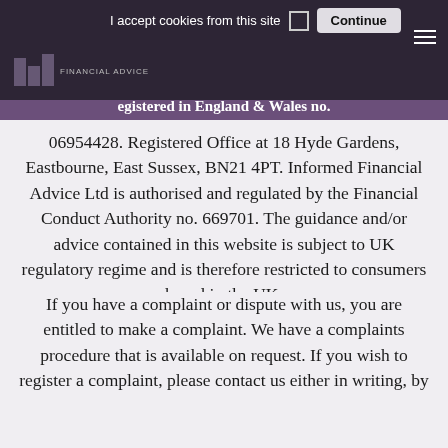I accept cookies from this site  [checkbox]  Continue
FINANCIAL ADVICE
registered in England & Wales no. 06954428. Registered Office at 18 Hyde Gardens, Eastbourne, East Sussex, BN21 4PT. Informed Financial Advice Ltd is authorised and regulated by the Financial Conduct Authority no. 669701. The guidance and/or advice contained in this website is subject to UK regulatory regime and is therefore restricted to consumers based in the UK.
If you have a complaint or dispute with us, you are entitled to make a complaint. We have a complaints procedure that is available on request. If you wish to register a complaint, please contact us either in writing, by